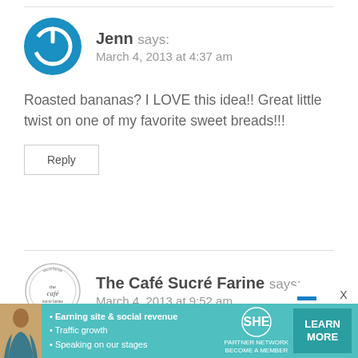[Figure (logo): Blue circular power button icon avatar for user Jenn]
Jenn says:
March 4, 2013 at 4:37 am
Roasted bananas? I LOVE this idea!! Great little twist on one of my favorite sweet breads!!!
Reply
[Figure (logo): The Café Sucré Farine circular logo with text]
The Café Sucré Farine says:
March 4, 2013 at 9:52 am
[Figure (infographic): SHE Media Partner Network advertisement banner with woman photo, bullet points about earning site and social revenue, traffic growth, speaking on stages, SHE logo, and LEARN MORE button]